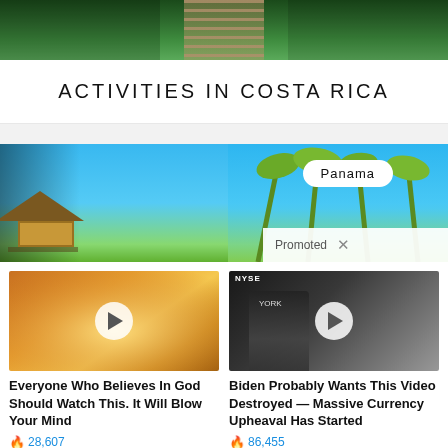[Figure (photo): Aerial or ground-level view of a rope/suspension bridge surrounded by green tropical forest canopy]
ACTIVITIES IN COSTA RICA
[Figure (photo): Tropical beach scene with thatched-roof huts on water, palm trees, blue sky and sea; Panama badge overlay; Promoted label with X]
[Figure (photo): Video thumbnail: sunlight rays through clouds; play button overlay; article title: Everyone Who Believes In God Should Watch This. It Will Blow Your Mind; 28,607 views]
[Figure (photo): Video thumbnail: NYSE studio scene with man in suit; play button overlay; article title: Biden Probably Wants This Video Destroyed — Massive Currency Upheaval Has Started; 86,455 views]
Everyone Who Believes In God Should Watch This. It Will Blow Your Mind
28,607
Biden Probably Wants This Video Destroyed — Massive Currency Upheaval Has Started
86,455